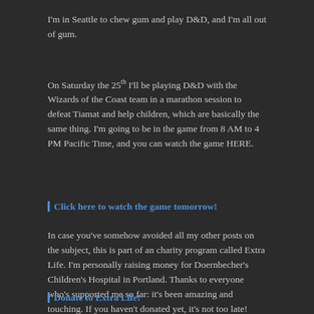I'm in Seattle to chew gum and play D&D, and I'm all out of gum.
On Saturday the 25th I'll be playing D&D with the Wizards of the Coast team in a marathon session to defeat Tiamat and help children, which are basically the same thing. I'm going to be in the game from 8 AM to 4 PM Pacific Time, and you can watch the game HERE.
Click here to watch the game tomorrow!
In case you've somehow avoided all my other posts on the subject, this is part of an charity program called Extra Life. I'm personally raising money for Doernbecher's Children's Hospital in Portland. Thanks to everyone who's supported me so far: it's been amazing and touching. If you haven't donated yet, it's not too late!
Donate to Extra Life!
The first character I ever played in an Eberron campaign